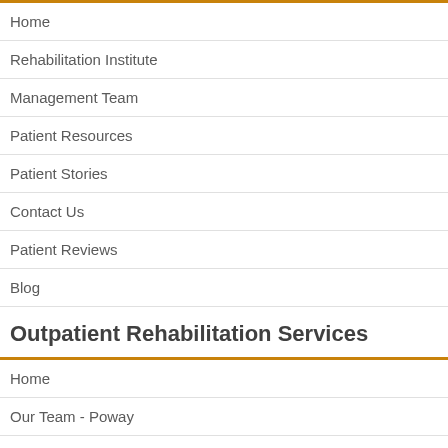Home
Rehabilitation Institute
Management Team
Patient Resources
Patient Stories
Contact Us
Patient Reviews
Blog
Outpatient Rehabilitation Services
Home
Our Team - Poway
Our Team - San Marcos
Patient Forms